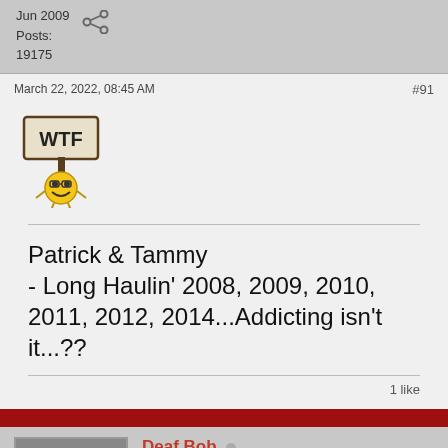Jun 2009
Posts:
19175
March 22, 2022, 08:45 AM
#91
[Figure (illustration): WTF emoji: a pixelated yellow smiley face holding a sign that says WTF]
Patrick & Tammy
- Long Haulin' 2008, 2009, 2010, 2011, 2012, 2014...Addicting isn't it...??
1 like
Deaf Bob
No Life Outside BangShift.com
Join Date:
Feb 2012